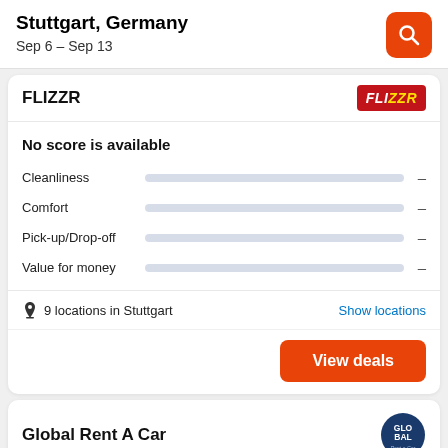Stuttgart, Germany
Sep 6 – Sep 13
FLIZZR
No score is available
Cleanliness –
Comfort –
Pick-up/Drop-off –
Value for money –
9 locations in Stuttgart
Show locations
View deals
Global Rent A Car